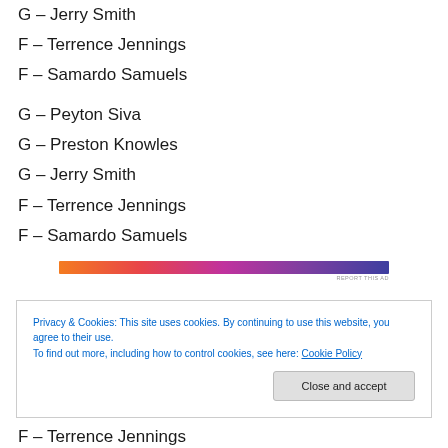G – Jerry Smith
F – Terrence Jennings
F – Samardo Samuels
G – Peyton Siva
G – Preston Knowles
G – Jerry Smith
F – Terrence Jennings
F – Samardo Samuels
[Figure (other): Advertisement banner with orange to purple gradient containing decorative pattern]
Privacy & Cookies: This site uses cookies. By continuing to use this website, you agree to their use. To find out more, including how to control cookies, see here: Cookie Policy
F – Terrence Jennings